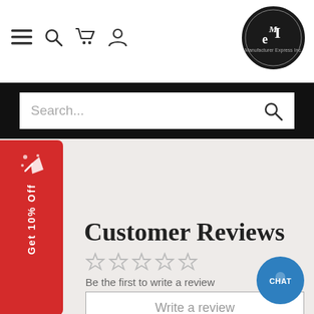[Figure (logo): Manufacturer Express Inc. logo — oval black badge with stylized 'MeI' letters in white]
Search...
Get 10% Off
Customer Reviews
Be the first to write a review
Write a review
CHAT